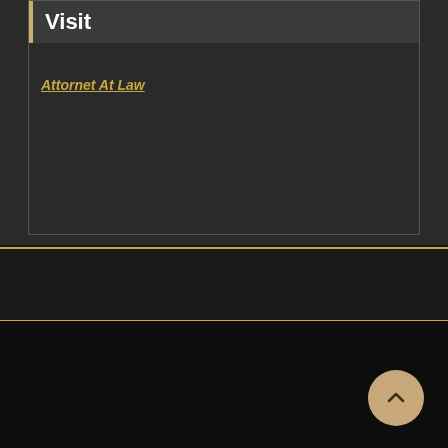Visit
Attornet At Law
Copyright © 2022 | Powered by WordPress | Home Interior Theme by A WP Life